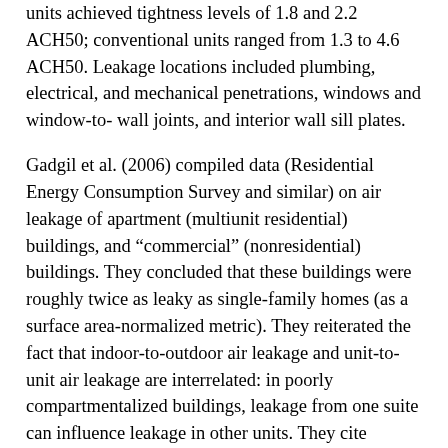units achieved tightness levels of 1.8 and 2.2 ACH50; conventional units ranged from 1.3 to 4.6 ACH50. Leakage locations included plumbing, electrical, and mechanical penetrations, windows and window-to- wall joints, and interior wall sill plates.
Gadgil et al. (2006) compiled data (Residential Energy Consumption Survey and similar) on air leakage of apartment (multiunit residential) buildings, and “commercial” (nonresidential) buildings. They concluded that these buildings were roughly twice as leaky as single-family homes (as a surface area-normalized metric). They reiterated the fact that indoor-to-outdoor air leakage and unit-to-unit air leakage are interrelated: in poorly compartmentalized buildings, leakage from one suite can influence leakage in other units. They cite literature stating that commonly, 10%–40% of the air coming into apartments originates from other units, not from the exterior; some cases report that 100% air leakage is supplied from other units. They also warned that improving indoor-to-outdoor airtightness in apartment